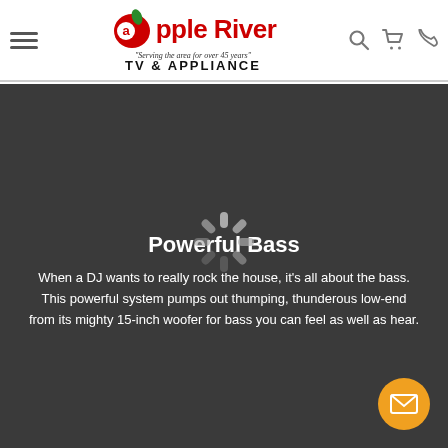Apple River TV & Appliance — "Serving the area for over 45 years"
[Figure (other): Loading spinner icon (asterisk/sunburst style) on dark gray background]
Powerful Bass
When a DJ wants to really rock the house, it's all about the bass. This powerful system pumps out thumping, thunderous low-end from its mighty 15-inch woofer for bass you can feel as well as hear.
[Figure (other): Orange circular email/envelope button in bottom-right corner]